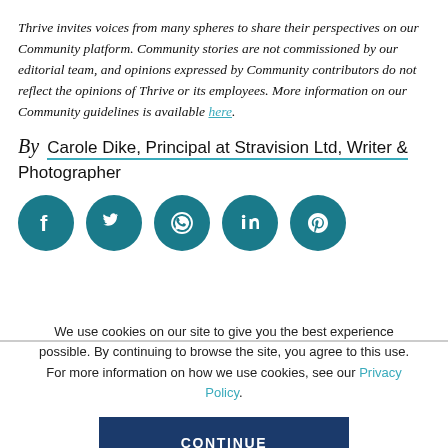Thrive invites voices from many spheres to share their perspectives on our Community platform. Community stories are not commissioned by our editorial team, and opinions expressed by Community contributors do not reflect the opinions of Thrive or its employees. More information on our Community guidelines is available here.
By Carole Dike, Principal at Stravision Ltd, Writer & Photographer
[Figure (other): Row of five circular teal social media icon buttons: Facebook, Twitter, WhatsApp, LinkedIn, Pinterest]
We use cookies on our site to give you the best experience possible. By continuing to browse the site, you agree to this use. For more information on how we use cookies, see our Privacy Policy.
CONTINUE